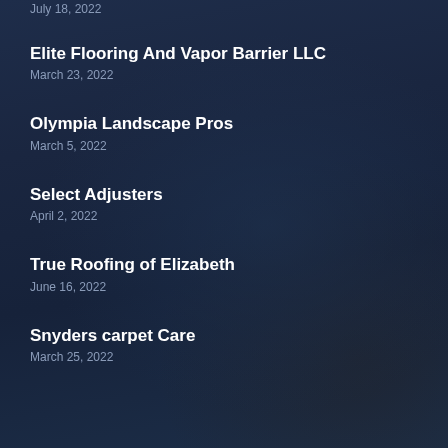July 18, 2022
Elite Flooring And Vapor Barrier LLC
March 23, 2022
Olympia Landscape Pros
March 5, 2022
Select Adjusters
April 2, 2022
True Roofing of Elizabeth
June 16, 2022
Snyders carpet Care
March 25, 2022